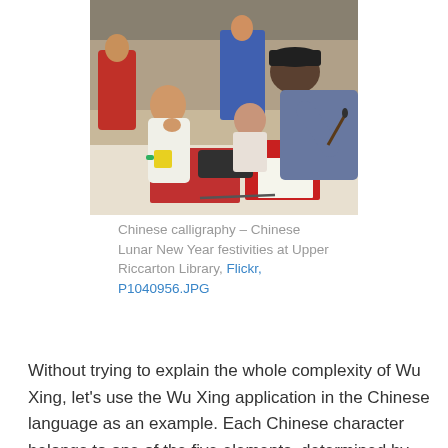[Figure (photo): A man demonstrating Chinese calligraphy to a young girl at a table during Chinese Lunar New Year festivities at Upper Riccarton Library. Red paper and calligraphy tools are visible on the table.]
Chinese calligraphy – Chinese Lunar New Year festivities at Upper Riccarton Library, Flickr, P1040956.JPG
Without trying to explain the whole complexity of Wu Xing, let's use the Wu Xing application in the Chinese language as an example. Each Chinese character belongs to one of the five elements, determined by how it is written and its